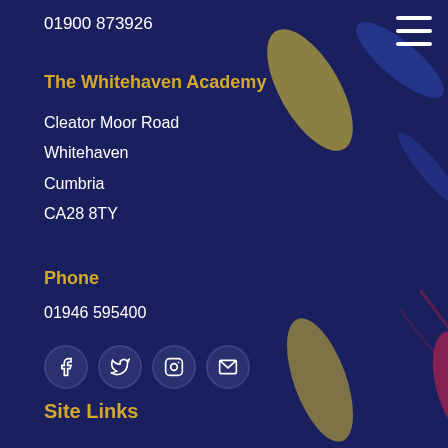01900 873926
The Whitehaven Academy
Cleator Moor Road
Whitehaven
Cumbria
CA28 8TY
Phone
01946 595400
[Figure (infographic): Social media icons: Facebook, Twitter, Instagram, Email]
Site Links
Home
News
Prospectus